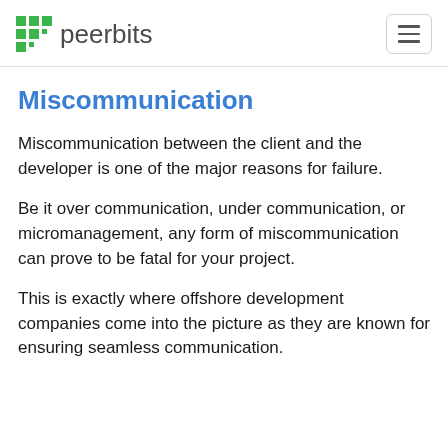peerbits
Miscommunication
Miscommunication between the client and the developer is one of the major reasons for failure.
Be it over communication, under communication, or micromanagement, any form of miscommunication can prove to be fatal for your project.
This is exactly where offshore development companies come into the picture as they are known for ensuring seamless communication.